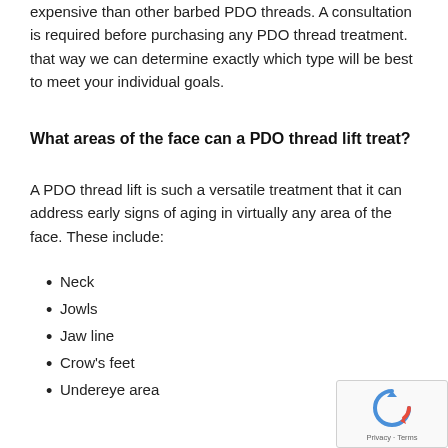expensive than other barbed PDO threads. A consultation is required before purchasing any PDO thread treatment. that way we can determine exactly which type will be best to meet your individual goals.
What areas of the face can a PDO thread lift treat?
A PDO thread lift is such a versatile treatment that it can address early signs of aging in virtually any area of the face. These include:
Neck
Jowls
Jaw line
Crow's feet
Undereye area
Nasolabial folds
Eyebrow area
Cheeks
Marionette lines